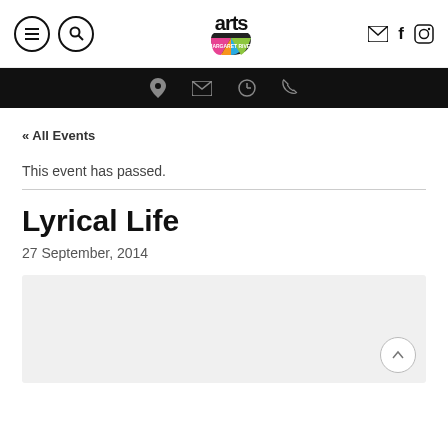Arts Margaret River – navigation and logo header
« All Events
This event has passed.
Lyrical Life
27 September, 2014
[Figure (other): Gray placeholder content box with a scroll-to-top circular button in the bottom-right corner]